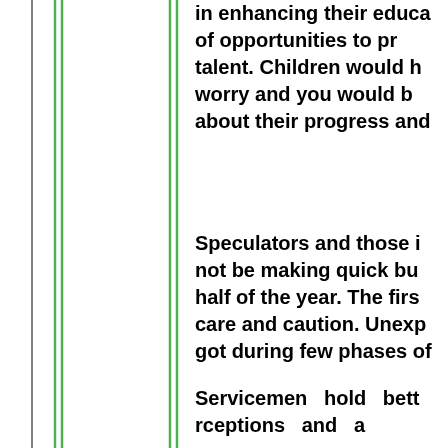in enhancing their educa of opportunities to pr talent. Children would worry and you would about their progress and
Speculators and those i not be making quick bu half of the year. The firs care and caution. Unexp got during few phases of
Servicemen hold bet